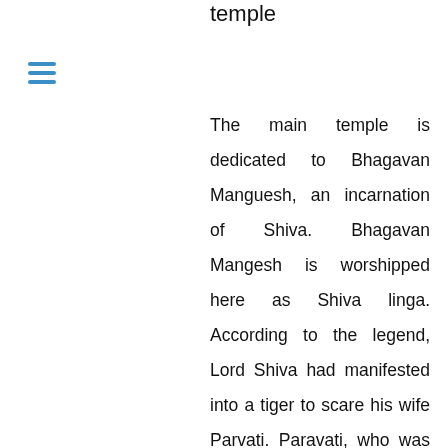temple
[Figure (other): Hamburger menu icon with three horizontal blue lines]
The main temple is dedicated to Bhagavan Manguesh, an incarnation of Shiva. Bhagavan Mangesh is worshipped here as Shiva linga. According to the legend, Lord Shiva had manifested into a tiger to scare his wife Parvati. Paravati, who was frightened at the sight of the tiger, went in search of Lord Shiva and cried out, “Trahi Mam girisha!” (Oh Lord of Mountains, save me!). Upon hearing the words, Lord Shiva turned himself back to his normal